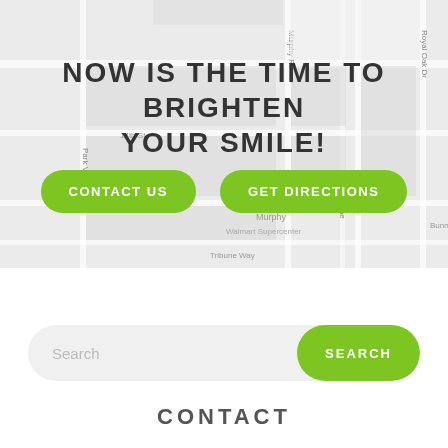[Figure (map): Street map showing Murphy Rd, Royal Oak Dr, 14th St, Park Vista Rd, S Murphy, Hawthorne, Bunny Run, Tribune Way, with Walmart Supercenter label]
NOW IS THE TIME TO BRIGHTEN YOUR SMILE!
CONTACT US
GET DIRECTIONS
Search
SEARCH
CONTACT